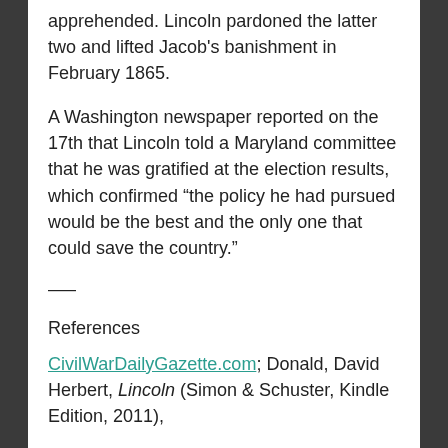apprehended. Lincoln pardoned the latter two and lifted Jacob's banishment in February 1865.
A Washington newspaper reported on the 17th that Lincoln told a Maryland committee that he was gratified at the election results, which confirmed “the policy he had pursued would be the best and the only one that could save the country.”
—–
References
CivilWarDailyGazette.com; Donald, David Herbert, Lincoln (Simon & Schuster, Kindle Edition, 2011),